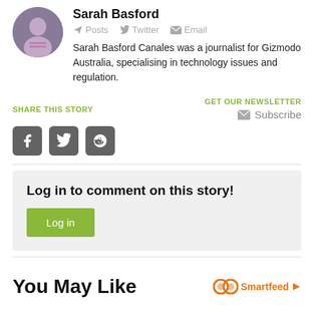Sarah Basford
Posts  Twitter  Email
Sarah Basford Canales was a journalist for Gizmodo Australia, specialising in technology issues and regulation.
SHARE THIS STORY
GET OUR NEWSLETTER
Subscribe
Log in to comment on this story!
Log in
You May Like
Smartfeed